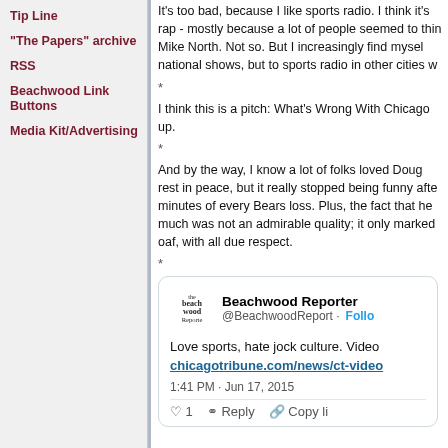Tip Line
"The Papers" archive
RSS
Beachwood Link Buttons
Media Kit/Advertising
It's too bad, because I like sports radio. I think it's rap - mostly because a lot of people seemed to think Mike North. Not so. But I increasingly find myself national shows, but to sports radio in other cities w
*
I think this is a pitch: What's Wrong With Chicago up.
*
And by the way, I know a lot of folks loved Doug rest in peace, but it really stopped being funny afte minutes of every Bears loss. Plus, the fact that he much was not an admirable quality; it only marked oaf, with all due respect.
*
[Figure (screenshot): Tweet card from Beachwood Reporter (@BeachwoodReport) with logo, Follow link, body text 'Love sports, hate jock culture. Video chicagotribune.com/news/ct-video', timestamp '1:41 PM · Jun 17, 2015', and action buttons: Heart 1, Reply, Copy link]